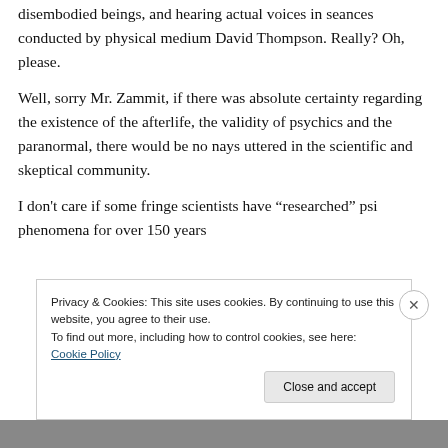disembodied beings, and hearing actual voices in seances conducted by physical medium David Thompson. Really? Oh, please.
Well, sorry Mr. Zammit, if there was absolute certainty regarding the existence of the afterlife, the validity of psychics and the paranormal, there would be no nays uttered in the scientific and skeptical community.
I don't care if some fringe scientists have "researched" psi phenomena for over 150 years
Privacy & Cookies: This site uses cookies. By continuing to use this website, you agree to their use.
To find out more, including how to control cookies, see here: Cookie Policy